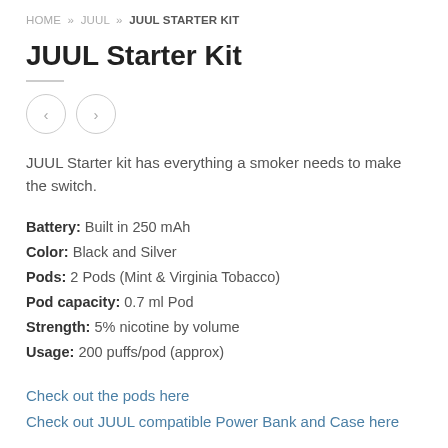HOME » JUUL » JUUL STARTER KIT
JUUL Starter Kit
[Figure (other): Navigation arrows: left arrow button and right arrow button]
JUUL Starter kit has everything a smoker needs to make the switch.
Battery: Built in 250 mAh
Color: Black and Silver
Pods: 2 Pods (Mint & Virginia Tobacco)
Pod capacity: 0.7 ml Pod
Strength: 5% nicotine by volume
Usage: 200 puffs/pod (approx)
Check out the pods here
Check out JUUL compatible Power Bank and Case here